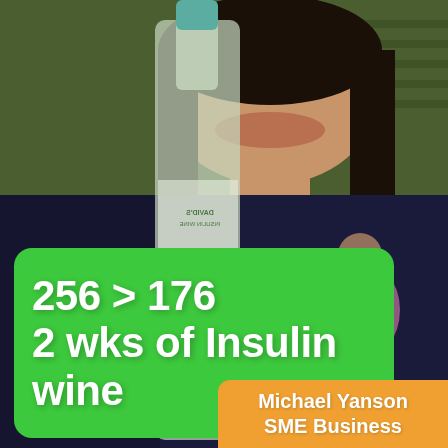[Figure (photo): A person holding a large wine bottle (David's Insulin Wine label) up to their face, smiling. The bottle label is partially visible and mirrored/reversed. Background is green and dark.]
256 > 176
2 wks of Insulin wine
Michael Yanson
SME Business